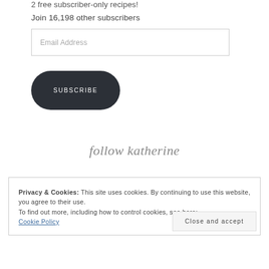2 free subscriber-only recipes!
Join 16,198 other subscribers
Email Address
SUBSCRIBE
follow katherine
Privacy & Cookies: This site uses cookies. By continuing to use this website, you agree to their use.
To find out more, including how to control cookies, see here:
Cookie Policy
Close and accept